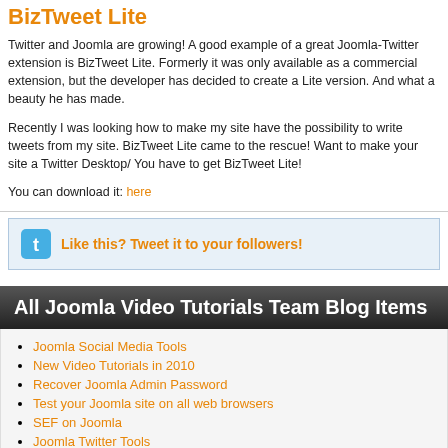BizTweet Lite
Twitter and Joomla are growing! A good example of a great Joomla-Twitter extension is BizTweet Lite. Formerly it was only available as a commercial extension, but the developer has decided to create a Lite version. And what a beauty he has made.
Recently I was looking how to make my site have the possibility to write tweets from my site. BizTweet Lite came to the rescue! Want to make your site a Twitter Desktop/ You have to get BizTweet Lite!
You can download it: here
[Figure (infographic): Twitter bird icon with orange link: Like this? Tweet it to your followers!]
All Joomla Video Tutorials Team Blog Items
Joomla Social Media Tools
New Video Tutorials in 2010
Recover Joomla Admin Password
Test your Joomla site on all web browsers
SEF on Joomla
Joomla Twitter Tools